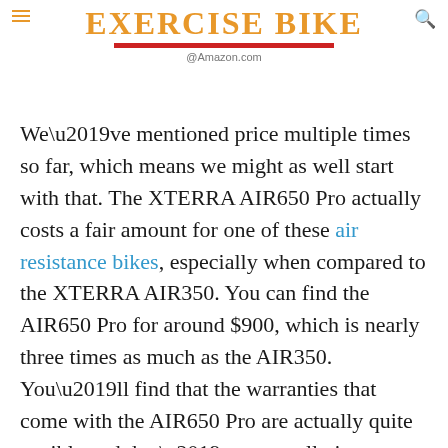EXERCISE BIKE @Amazon.com
We’ve mentioned price multiple times so far, which means we might as well start with that. The XTERRA AIR650 Pro actually costs a fair amount for one of these air resistance bikes, especially when compared to the XTERRA AIR350. You can find the AIR650 Pro for around $900, which is nearly three times as much as the AIR350. You’ll find that the warranties that come with the AIR650 Pro are actually quite terrible and don’t even really improve on the AIR350’s. You do get a lifetime warranty on the frame (compared to 1 year for the AIR350), but the 1 year warranty on the belt and 1 year warranty on the parts stay the same. There is no warranty on the labour. While the frame